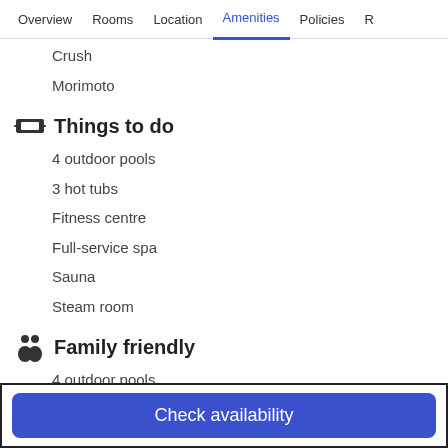Overview  Rooms  Location  Amenities  Policies  R
Crush
Morimoto
Things to do
4 outdoor pools
3 hot tubs
Fitness centre
Full-service spa
Sauna
Steam room
Family friendly
4 outdoor pools
Free cots/infant beds
Check availability